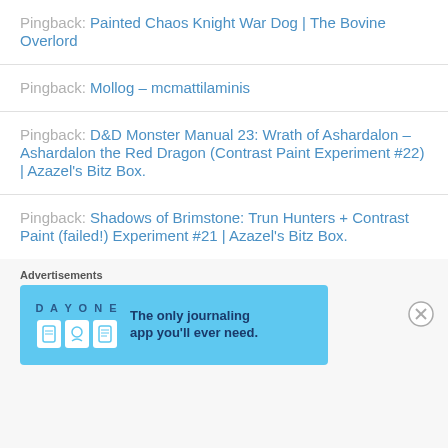Pingback: Painted Chaos Knight War Dog | The Bovine Overlord
Pingback: Mollog – mcmattilaminis
Pingback: D&D Monster Manual 23: Wrath of Ashardalon – Ashardalon the Red Dragon (Contrast Paint Experiment #22) | Azazel's Bitz Box.
Pingback: Shadows of Brimstone: Trun Hunters + Contrast Paint (failed!) Experiment #21 | Azazel's Bitz Box.
Advertisements
[Figure (infographic): Day One journaling app advertisement banner with light blue background, app icons, and tagline 'The only journaling app you'll ever need.']